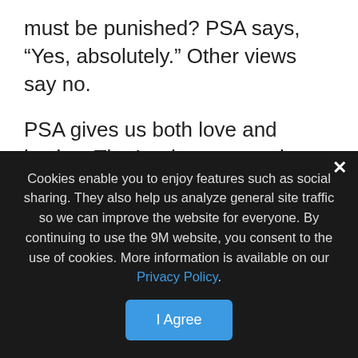must be punished? PSA says, “Yes, absolutely.” Other views say no.
PSA gives us both love and justice. That’s what we need to teach our people. It isn’t ‘pie in the sky’ doctrine, nor is it cosmic child abuse. It’s the only view of the atonement which gives them the peace of mind that though their abusers may never face human justice, there will one day be a full reckoning as they stand before God to give account for their evil si…
3. Tea… ut venge…
As I said, PSA reveals to us this God of justice. That’s challenging to b… because most of our abusers never face justice in their lifetime. Their
Cookies enable you to enjoy features such as social sharing. They also help us analyze general site traffic so we can improve the website for everyone. By continuing to use the 9M website, you consent to the use of cookies. More information is available on our Privacy Policy.